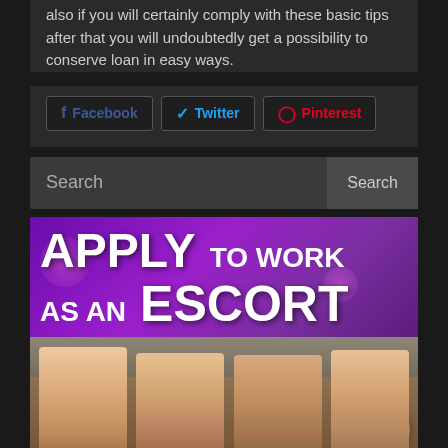also if you will certainly comply with these basic tips after that you will undoubtedly get a possibility to conserve loan in easy ways.
[Figure (screenshot): Social sharing buttons: Facebook, Twitter, Pinterest]
[Figure (screenshot): Search bar with Search label and Search button]
[Figure (infographic): Advertisement banner reading APPLY TO WORK AS AN ESCORT with photo of women in a limousine and a green phone call button]